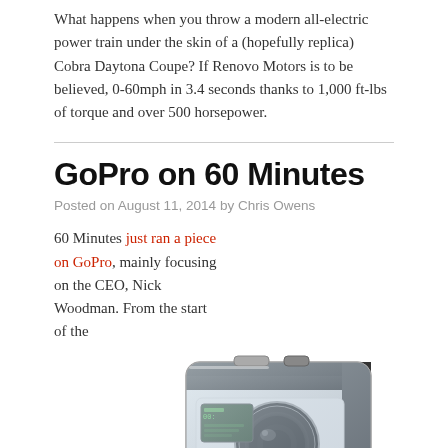What happens when you throw a modern all-electric power train under the skin of a (hopefully replica) Cobra Daytona Coupe? If Renovo Motors is to be believed, 0-60mph in 3.4 seconds thanks to 1,000 ft-lbs of torque and over 500 horsepower.
GoPro on 60 Minutes
Posted on August 11, 2014 by Chris Owens
60 Minutes just ran a piece on GoPro, mainly focusing on the CEO, Nick Woodman. From the start of the
[Figure (photo): GoPro HERO3+ camera in clear waterproof housing, angled view showing the lens, LCD screen, and red record button]